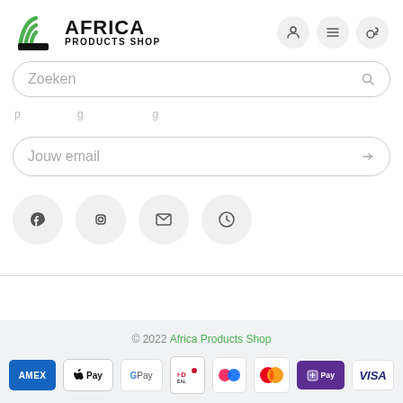[Figure (logo): Africa Products Shop logo with green wave/wifi icon and bold text 'AFRICA PRODUCTS SHOP']
Zoeken
Jouw email
© 2022 Africa Products Shop
[Figure (infographic): Payment method badges: AMEX, Apple Pay, G Pay, iDEAL, Klarna, Mastercard, Shopify Pay, VISA]